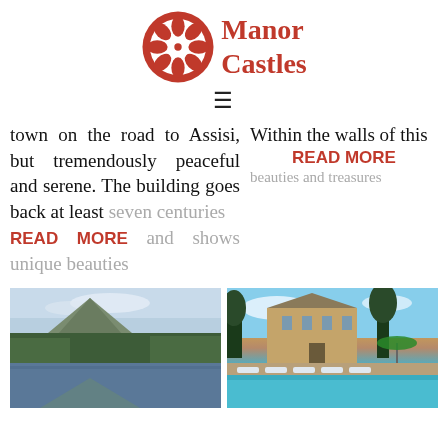[Figure (logo): Manor Castles logo with red flower/snowflake circle icon and red serif brand name text]
≡
town on the road to Assisi, but tremendously peaceful and serene. The building goes back at least seven centuries READ MORE and shows unique beauties
Within the walls of this READ MORE beauties
[Figure (photo): Scenic lake with mountain and forest reflections]
[Figure (photo): Chateau with swimming pool, sun loungers, and green umbrella in stone courtyard]